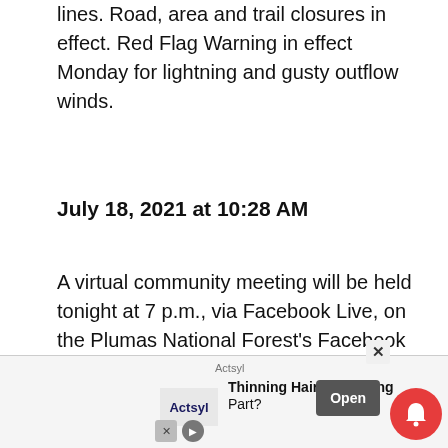lines. Road, area and trail closures in effect. Red Flag Warning in effect Monday for lightning and gusty outflow winds.
July 18, 2021 at 10:28 AM
A virtual community meeting will be held tonight at 7 p.m., via Facebook Live, on the Plumas National Forest's Facebook page. You can submit your questions beforehand to the incident email address 2021.beckwourthcomplex@firenet.gov or on the Facebook meeting event page.
Current Situation: At 6 a.m. today, California